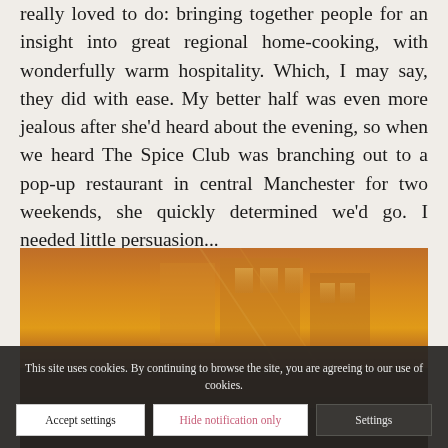really loved to do: bringing together people for an insight into great regional home-cooking, with wonderfully warm hospitality. Which, I may say, they did with ease. My better half was even more jealous after she'd heard about the evening, so when we heard The Spice Club was branching out to a pop-up restaurant in central Manchester for two weekends, she quickly determined we'd go. I needed little persuasion...
[Figure (photo): Warm orange-toned restaurant interior photo, dimly lit with amber and golden hues]
This site uses cookies. By continuing to browse the site, you are agreeing to our use of cookies.